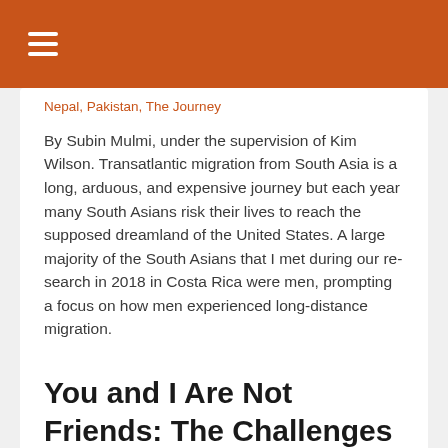≡
Nepal, Pakistan, The Journey
By Subin Mulmi, under the supervision of Kim Wilson. Transatlantic migration from South Asia is a long, arduous, and expensive journey but each year many South Asians risk their lives to reach the supposed dreamland of the United States. A large majority of the South Asians that I met during our re-search in 2018 in Costa Rica were men, prompting a focus on how men experienced long-distance migration.
Read more
You and I Are Not Friends: The Challenges of Ethnographic Study in